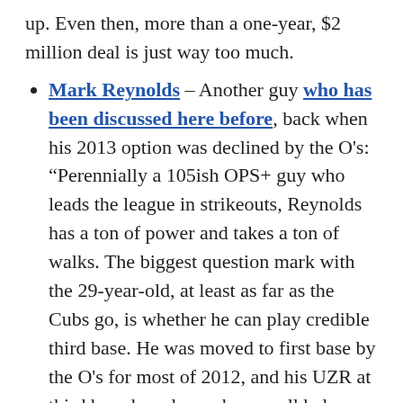up. Even then, more than a one-year, $2 million deal is just way too much.
Mark Reynolds – Another guy who has been discussed here before, back when his 2013 option was declined by the O's: "Perennially a 105ish OPS+ guy who leads the league in strikeouts, Reynolds has a ton of power and takes a ton of walks. The biggest question mark with the 29-year-old, at least as far as the Cubs go, is whether he can play credible third base. He was moved to first base by the O's for most of 2012, and his UZR at third base has always been well below average